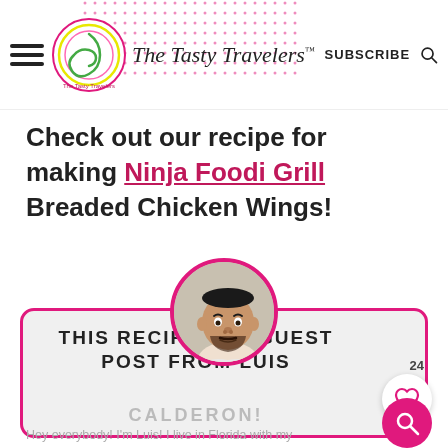The Tasty Travelers SUBSCRIBE
Check out our recipe for making Ninja Foodi Grill Breaded Chicken Wings!
[Figure (illustration): Author card with circular profile photo of Luis Calderon, pink rounded border, like button showing 24, and pink search button overlay]
THIS RECIPE IS A GUEST POST FROM LUIS CALDERON!
Hey everybody! I'm Luis! I live in Florida with my